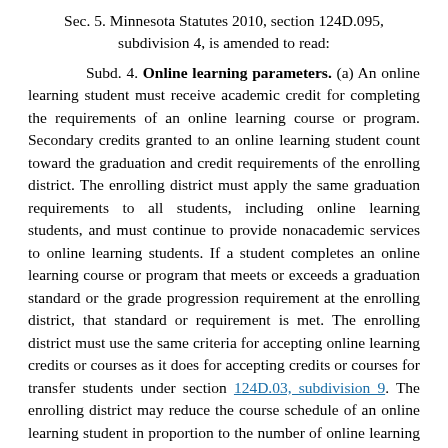Sec. 5. Minnesota Statutes 2010, section 124D.095, subdivision 4, is amended to read:
Subd. 4. Online learning parameters. (a) An online learning student must receive academic credit for completing the requirements of an online learning course or program. Secondary credits granted to an online learning student count toward the graduation and credit requirements of the enrolling district. The enrolling district must apply the same graduation requirements to all students, including online learning students, and must continue to provide nonacademic services to online learning students. If a student completes an online learning course or program that meets or exceeds a graduation standard or the grade progression requirement at the enrolling district, that standard or requirement is met. The enrolling district must use the same criteria for accepting online learning credits or courses as it does for accepting credits or courses for transfer students under section 124D.03, subdivision 9. The enrolling district may reduce the course schedule of an online learning student in proportion to the number of online learning courses the student takes from an online learning provider that is not the enrolling district.
(b) An online learning student may...